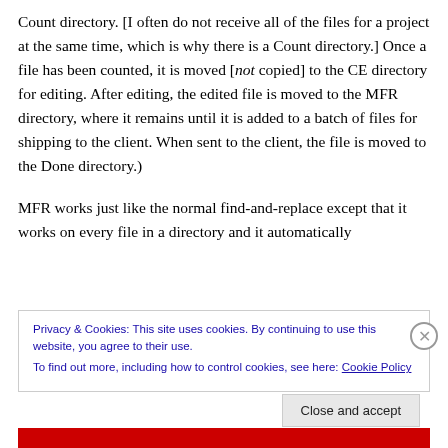Count directory. [I often do not receive all of the files for a project at the same time, which is why there is a Count directory.] Once a file has been counted, it is moved [not copied] to the CE directory for editing. After editing, the edited file is moved to the MFR directory, where it remains until it is added to a batch of files for shipping to the client. When sent to the client, the file is moved to the Done directory.)

MFR works just like the normal find-and-replace except that it works on every file in a directory and it automatically
Privacy & Cookies: This site uses cookies. By continuing to use this website, you agree to their use.
To find out more, including how to control cookies, see here: Cookie Policy
Close and accept